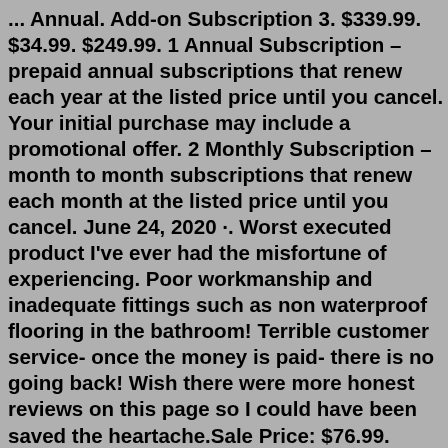... Annual. Add-on Subscription 3. $339.99. $34.99. $249.99. 1 Annual Subscription – prepaid annual subscriptions that renew each year at the listed price until you cancel. Your initial purchase may include a promotional offer. 2 Monthly Subscription – month to month subscriptions that renew each month at the listed price until you cancel. June 24, 2020 ·. Worst executed product I've ever had the misfortune of experiencing. Poor workmanship and inadequate fittings such as non waterproof flooring in the bathroom! Terrible customer service- once the money is paid- there is no going back! Wish there were more honest reviews on this page so I could have been saved the heartache.Sale Price: $76.99. Product #: CK000009. Spark Plug for Stihl MS260, 026 Replaces 1128-405-1000. Gasket Set for Stihl MS260, 026 Replaces 1121-007-1050. E-Clip for Stihl MS180, MS170 Replaces 9460-624-0801. Washer for Stihl Models Replaces 0000-958-1032. Sale Price: $1.67. Search: Stihl Chainsaw Spark Plug Wire Fix. What is